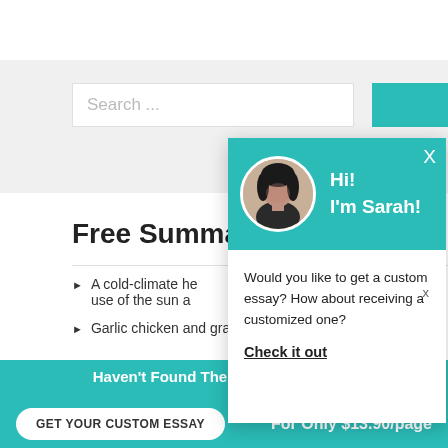[Figure (screenshot): Website screenshot showing a search bar with placeholder 'Search ...' on a light gray background, with a teal button partially visible on the right]
Free Summa
A cold-climate he use of the sun a
Garlic chicken and grapes Essay
[Figure (screenshot): Chat popup overlay with teal header showing avatar of Sarah and greeting 'Hi! I'm Sarah!', body text 'Would you like to get a custom essay? How about receiving a customized one?' and a bold underlined 'Check it out' link]
Would you like to get a custom essay? How about receiving a customized one?
Check it out
Haven't Found The Essay You Want?
GET YOUR CUSTOM ESSAY
For Only $13.90/page